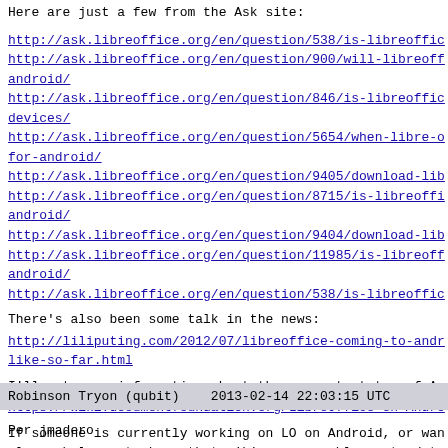Here are just a few from the Ask site:
http://ask.libreoffice.org/en/question/538/is-libreoffic
http://ask.libreoffice.org/en/question/900/will-libreoff android/
http://ask.libreoffice.org/en/question/846/is-libreoffic devices/
http://ask.libreoffice.org/en/question/5654/when-libre-o for-android/
http://ask.libreoffice.org/en/question/9405/download-lib
http://ask.libreoffice.org/en/question/8715/is-libreoffi android/
http://ask.libreoffice.org/en/question/9404/download-lib
http://ask.libreoffice.org/en/question/11985/is-libreoff android/
http://ask.libreoffice.org/en/question/538/is-libreoffic
There's also been some talk in the news:
http://liliputing.com/2012/07/libreoffice-coming-to-andr like-so-far.html
I'll put some information about the current status of An
https://wiki.documentfoundation.org/LibreOffice on Andro
If someone is currently working on LO on Android, or wan please help us to keep that wiki page roughly up to date
Robinson Tryon (qubit)    2013-02-14 22:03:15 UTC
Por jmadero